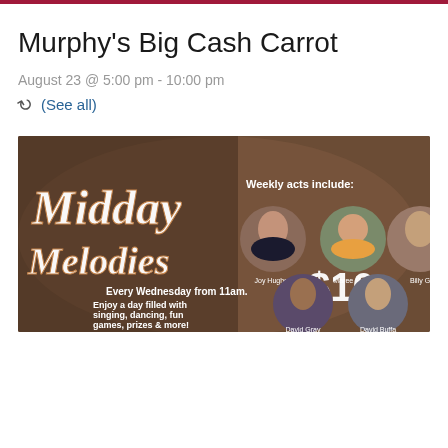Murphy's Big Cash Carrot
August 23 @ 5:00 pm - 10:00 pm
(See all)
[Figure (photo): Midday Melodies promotional banner. Text reads: 'Midday Melodies - Every Wednesday from 11am. Enjoy a day filled with singing, dancing, fun games, prizes & more! $10*'. Weekly acts include circular photos of performers: Joy Hughes, Maree Marie, Billy G(?), David Gray, David Buffa(?)]